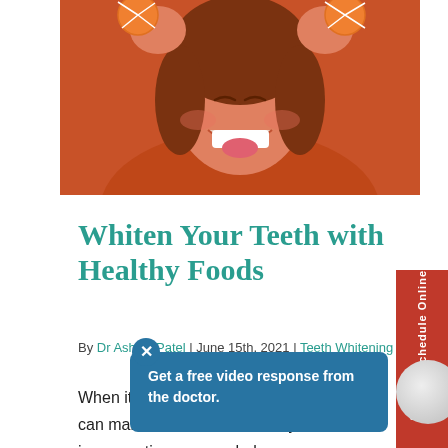[Figure (photo): Woman in orange sweater smiling and holding orange slices up to her eyes against an orange background]
Whiten Your Teeth with Healthy Foods
By Dr Ashish Patel | June 15th, 2021 | Teeth Whitening
When it comes to your smile, a healthy diet can make all the difference. By incorporating you can help
[Figure (screenshot): Blue popup tooltip saying 'Get a free video response from the doctor.' with an X close button]